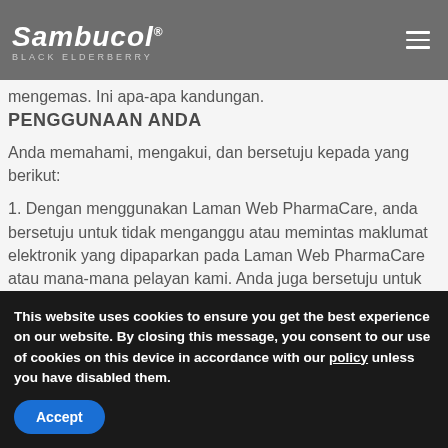Sambucol BLACK ELDERBERRY
mengemas. Ini apa-apa kandungan.
PENGGUNAAN ANDA
Anda memahami, mengakui, dan bersetuju kepada yang berikut:
1. Dengan menggunakan Laman Web PharmaCare, anda bersetuju untuk tidak menganggu atau memintas maklumat elektronik yang dipaparkan pada Laman Web PharmaCare atau mana-mana pelayan kami. Anda juga bersetuju untuk tidak mencuba mengelak apa-apa ciri
This website uses cookies to ensure you get the best experience on our website. By closing this message, you consent to our use of cookies on this device in accordance with our policy unless you have disabled them.